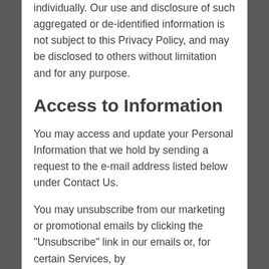individually. Our use and disclosure of such aggregated or de-identified information is not subject to this Privacy Policy, and may be disclosed to others without limitation and for any purpose.
Access to Information
You may access and update your Personal Information that we hold by sending a request to the e-mail address listed below under Contact Us.
You may unsubscribe from our marketing or promotional emails by clicking the "Unsubscribe" link in our emails or, for certain Services, by